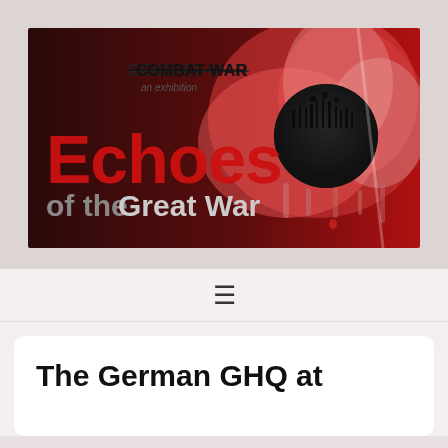[Figure (illustration): Exhibition banner image for 'Echoes of the Great War' — a Combat War exhibition. Features a red and dark background with a melting poppy flower containing a silhouette of soldiers and war imagery on a globe. Large red text reads 'Echoes' and gray/white text reads 'of the Great War'. Top left shows 'COMBAT WAR an exhibition' logo.]
[Figure (other): Hamburger menu icon (three horizontal lines) centered in a navigation bar.]
The German GHQ at